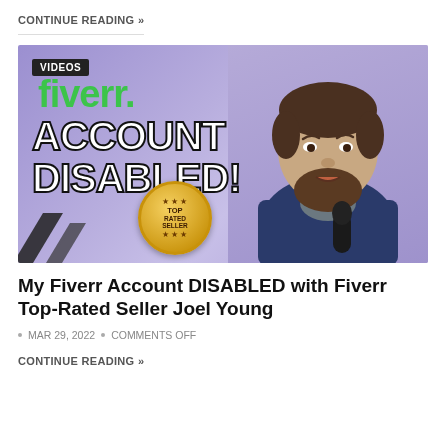CONTINUE READING »
[Figure (screenshot): Thumbnail image for a YouTube video showing the Fiverr logo with the text 'ACCOUNT DISABLED!' in large white bold letters, a gold Top Rated Seller badge, and a bearded man looking surprised, with a purple/blue geometric background. A 'VIDEOS' badge appears in the top-left corner.]
My Fiverr Account DISABLED with Fiverr Top-Rated Seller Joel Young
MAR 29, 2022  •  COMMENTS OFF
CONTINUE READING »